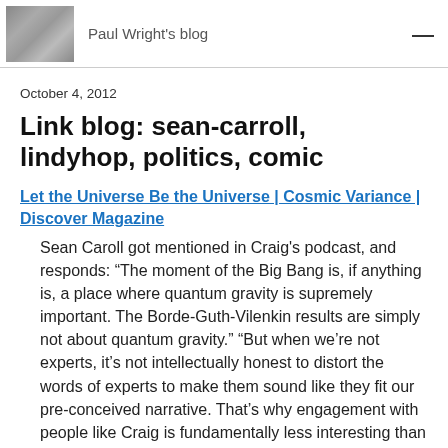Paul Wright's blog
October 4, 2012
Link blog: sean-carroll, lindyhop, politics, comic
Let the Universe Be the Universe | Cosmic Variance | Discover Magazine
Sean Caroll got mentioned in Craig's podcast, and responds: “The moment of the Big Bang is, if anything is, a place where quantum gravity is supremely important. The Borde-Guth-Vilenkin results are simply not about quantum gravity.” “But when we're not experts, it’s not intellectually honest to distort the words of experts to make them sound like they fit our pre-conceived narrative. That’s why engagement with people like Craig is fundamentally less interesting than